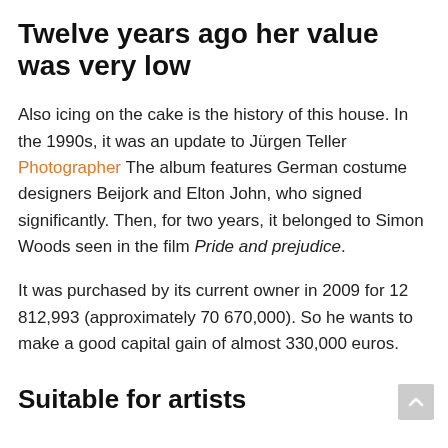Twelve years ago her value was very low
Also icing on the cake is the history of this house. In the 1990s, it was an update to Jürgen Teller Photographer The album features German costume designers Beijork and Elton John, who signed significantly. Then, for two years, it belonged to Simon Woods seen in the film Pride and prejudice.
It was purchased by its current owner in 2009 for 12 812,993 (approximately 70 670,000). So he wants to make a good capital gain of almost 330,000 euros.
Suitable for artists